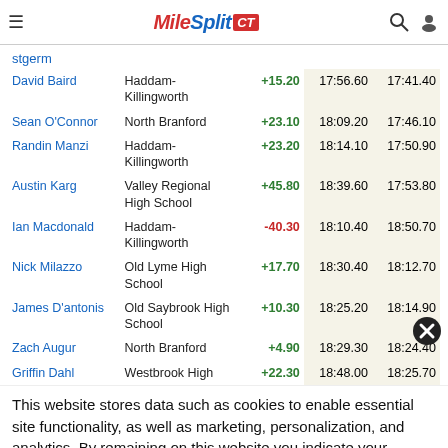MileSplit CT
stgerm
| Name | School | Diff | Time1 | Time2 |
| --- | --- | --- | --- | --- |
| David Baird | Haddam-Killingworth | +15.20 | 17:56.60 | 17:41.40 |
| Sean O'Connor | North Branford | +23.10 | 18:09.20 | 17:46.10 |
| Randin Manzi | Haddam-Killingworth | +23.20 | 18:14.10 | 17:50.90 |
| Austin Karg | Valley Regional High School | +45.80 | 18:39.60 | 17:53.80 |
| Ian Macdonald | Haddam-Killingworth | -40.30 | 18:10.40 | 18:50.70 |
| Nick Milazzo | Old Lyme High School | +17.70 | 18:30.40 | 18:12.70 |
| James D'antonis | Old Saybrook High School | +10.30 | 18:25.20 | 18:14.90 |
| Zach Augur | North Branford | +4.90 | 18:29.30 | 18:24.40 |
| Griffin Dahl | Westbrook High | +22.30 | 18:48.00 | 18:25.70 |
This website stores data such as cookies to enable essential site functionality, as well as marketing, personalization, and analytics. By remaining on this website you indicate your consent. Data Storage Policy